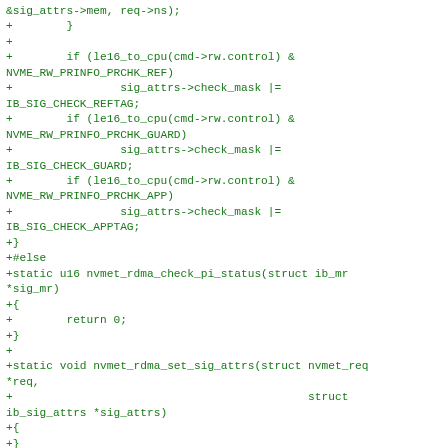&sig_attrs->mem, req->ns);
+        }
+
+        if (le16_to_cpu(cmd->rw.control) &
NVME_RW_PRINFO_PRCHK_REF)
+                sig_attrs->check_mask |=
IB_SIG_CHECK_REFTAG;
+        if (le16_to_cpu(cmd->rw.control) &
NVME_RW_PRINFO_PRCHK_GUARD)
+                sig_attrs->check_mask |=
IB_SIG_CHECK_GUARD;
+        if (le16_to_cpu(cmd->rw.control) &
NVME_RW_PRINFO_PRCHK_APP)
+                sig_attrs->check_mask |=
IB_SIG_CHECK_APPTAG;
+}
+#else
+static u16 nvmet_rdma_check_pi_status(struct ib_mr
*sig_mr)
+{
+        return 0;
+}
+
+static void nvmet_rdma_set_sig_attrs(struct nvmet_req
*req,
+                                            struct
ib_sig_attrs *sig_attrs)
+{
+}
+#endif /* CONFIG_BLK_DEV_INTEGRITY */